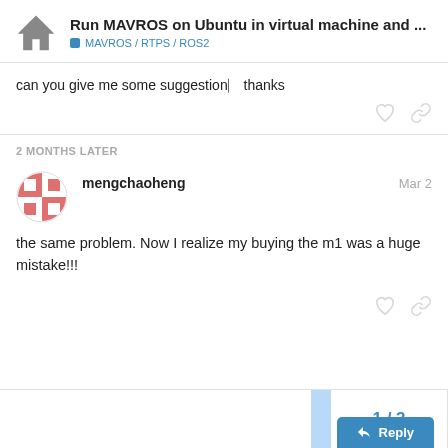Run MAVROS on Ubuntu in virtual machine and ... | MAVROS / RTPS / ROS2
can you give me some suggestion— thanks
2 MONTHS LATER
mengchaoheng   Mar 2
the same problem. Now I realize my buying the m1 was a huge mistake!!!
1 / 3